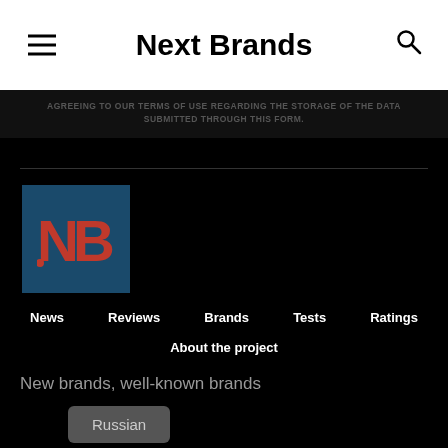Next Brands
AGREEING TO OUR TERMS OF USE REGARDING THE STORAGE OF THE DATA SUBMITTED THROUGH THIS FORM.
[Figure (logo): NB logo on dark teal background with red stylized letters N and B]
News   Reviews   Brands   Tests   Ratings   About the project
New brands, well-known brands
Russian